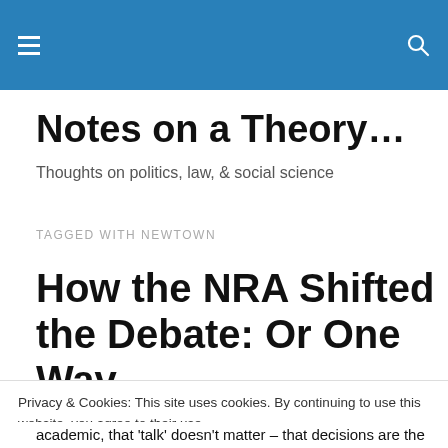[Navigation bar with hamburger menu and search icon]
Notes on a Theory…
Thoughts on politics, law, & social science
TAGGED WITH NEWTOWN
How the NRA Shifted the Debate: Or One Wav
Privacy & Cookies: This site uses cookies. By continuing to use this website, you agree to their use.
To find out more, including how to control cookies, see here: Cookie Policy
academic, that 'talk' doesn't matter – that decisions are the